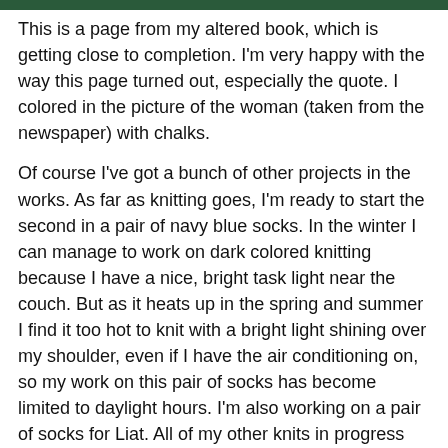[Figure (photo): Top portion of an image, partially visible — appears to be a decorative or craft book page with dark green/teal tones.]
This is a page from my altered book, which is getting close to completion. I'm very happy with the way this page turned out, especially the quote. I colored in the picture of the woman (taken from the newspaper) with chalks.
Of course I've got a bunch of other projects in the works. As far as knitting goes, I'm ready to start the second in a pair of navy blue socks. In the winter I can manage to work on dark colored knitting because I have a nice, bright task light near the couch. But as it heats up in the spring and summer I find it too hot to knit with a bright light shining over my shoulder, even if I have the air conditioning on, so my work on this pair of socks has become limited to daylight hours. I'm also working on a pair of socks for Liat. All of my other knits in progress have been ignored for many weeks, but I know I'll get back to them sooner or later. I've got many ideas I want to try out in my altered book and my art journal, and I'm already preparing another outdated reference book for altering. I'd love to make a supply of greeting cards to have available, too. And I haven't forgotten my clean up the crafts room project! (I just haven't done much about it yet, darn it).